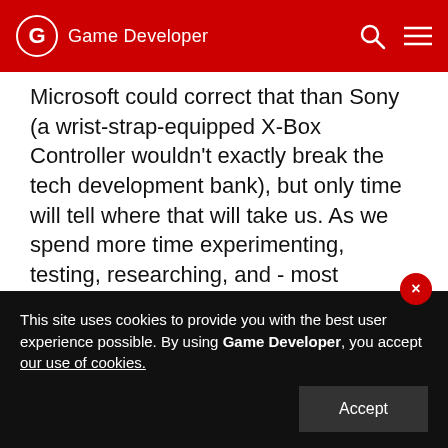Game Developer
Microsoft could correct that than Sony (a wrist-strap-equipped X-Box Controller wouldn't exactly break the tech development bank), but only time will tell where that will take us. As we spend more time experimenting, testing, researching, and - most important of all - playing with motion controls, we'll develop new standards and conventions, work out what works and what doesn't, and I really don't think we'll see motion control going away any time soon!
This site uses cookies to provide you with the best user experience possible. By using Game Developer, you accept our use of cookies.